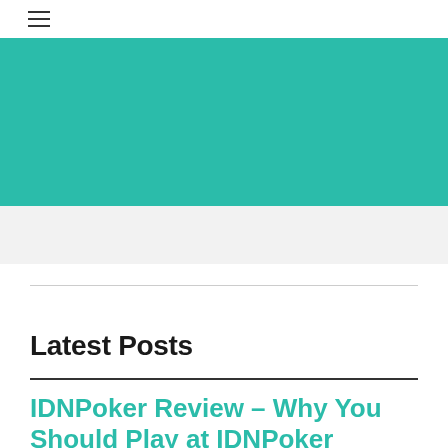≡
[Figure (other): Teal/green solid color hero banner image]
[Figure (other): Light gray advertisement strip]
Latest Posts
IDNPoker Review – Why You Should Play at IDNPoker